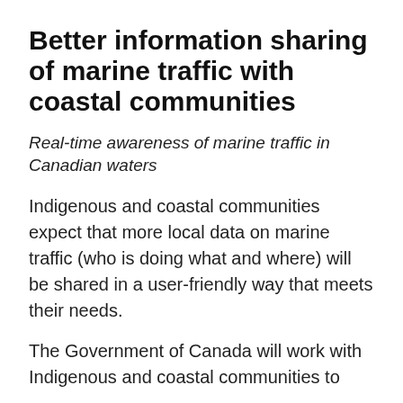Better information sharing of marine traffic with coastal communities
Real-time awareness of marine traffic in Canadian waters
Indigenous and coastal communities expect that more local data on marine traffic (who is doing what and where) will be shared in a user-friendly way that meets their needs.
The Government of Canada will work with Indigenous and coastal communities to